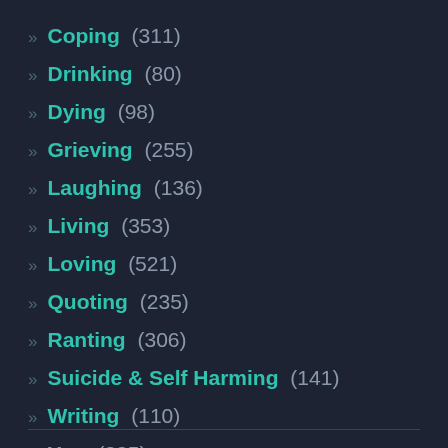» Coping (311)
» Drinking (80)
» Dying (98)
» Grieving (255)
» Laughing (136)
» Living (353)
» Loving (521)
» Quoting (235)
» Ranting (306)
» Suicide & Self Harming (141)
» Writing (110)
» You (225)